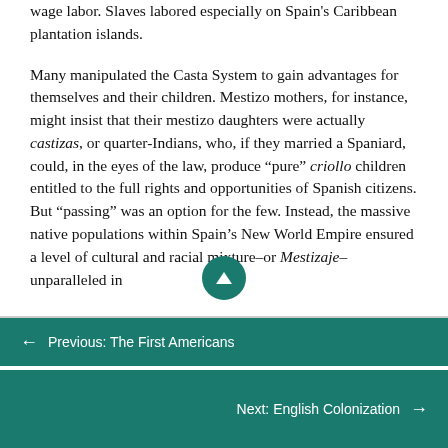wage labor. Slaves labored especially on Spain's Caribbean plantation islands.

Many manipulated the Casta System to gain advantages for themselves and their children. Mestizo mothers, for instance, might insist that their mestizo daughters were actually castizas, or quarter-Indians, who, if they married a Spaniard, could, in the eyes of the law, produce "pure" criollo children entitled to the full rights and opportunities of Spanish citizens. But "passing" was an option for the few. Instead, the massive native populations within Spain's New World Empire ensured a level of cultural and racial mixture–or Mestizaje–unparalleled in
← Previous: The First Americans
Next: English Colonization →